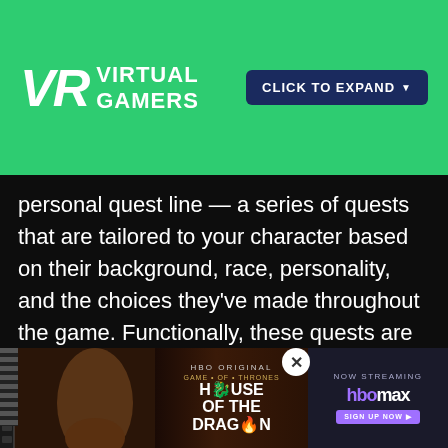VIRTUAL GAMERS — CLICK TO EXPAND
personal quest line — a series of quests that are tailored to your character based on their background, race, personality, and the choices they've made throughout the game. Functionally, these quests are handled like your traditional quests in MMOs: NPCs with tasks that continue your personal story will have icons above their heads, and you simply speak to them to begin your quest.

Unlike traditional MMO quests, these tasks will diffe...r you'l...wed
[Figure (advertisement): House of the Dragon HBO Max streaming advertisement overlay at the bottom of the page]